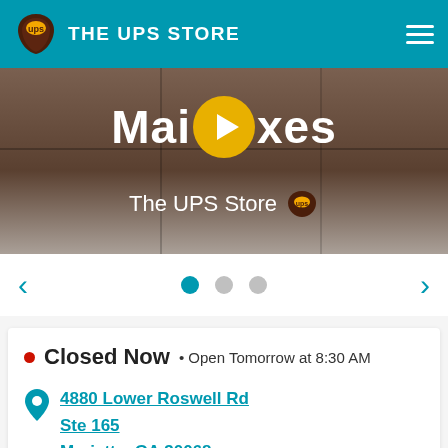THE UPS STORE
[Figure (screenshot): Video thumbnail showing mailboxes with a yellow play button overlay, text 'Mai[play]oxes' and 'The UPS Store' logo]
[Figure (other): Carousel navigation with left/right arrows and three dot indicators, first dot active (teal)]
Closed Now • Open Tomorrow at 8:30 AM
4880 Lower Roswell Rd
Ste 165
Marietta, GA 30068
Kroger Parkaire Shopping Center